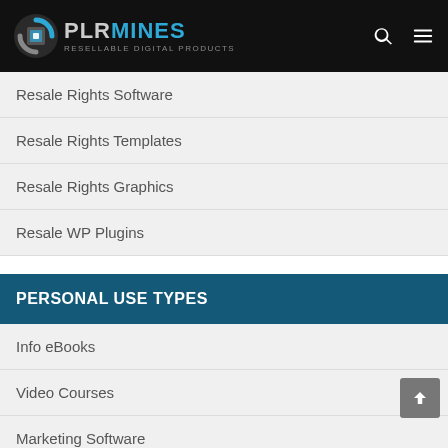PLRMINES RESELLABLE DIGITAL PRODUCTS
Resale Rights Software
Resale Rights Templates
Resale Rights Graphics
Resale WP Plugins
PERSONAL USE TYPES
Info eBooks
Video Courses
Marketing Software
HTML Templates